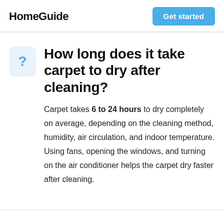HomeGuide
How long does it take carpet to dry after cleaning?
Carpet takes 6 to 24 hours to dry completely on average, depending on the cleaning method, humidity, air circulation, and indoor temperature. Using fans, opening the windows, and turning on the air conditioner helps the carpet dry faster after cleaning.